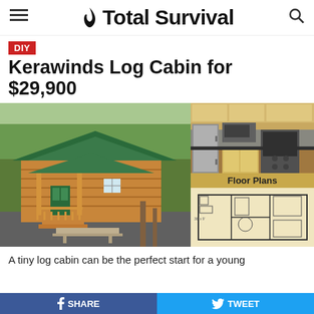Total Survival
DIY
Kerawinds Log Cabin for $29,900
[Figure (photo): Exterior photo of a log cabin with green roof and front porch, surrounded by trees]
[Figure (photo): Interior kitchen photo showing stainless steel appliances and light wood cabinets]
[Figure (engineering-diagram): Floor plan diagram showing room layout of the log cabin]
A tiny log cabin can be the perfect start for a young
SHARE   TWEET